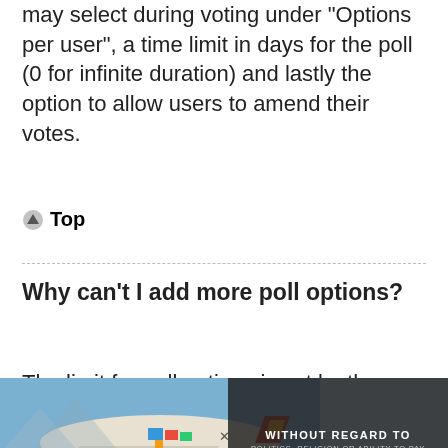may select during voting under “Options per user”, a time limit in days for the poll (0 for infinite duration) and lastly the option to allow users to amend their votes.
▲ Top
Why can’t I add more poll options?
The limit for poll options is set by the board administrator. If you feel you need to add more
[Figure (photo): Advertisement banner showing cargo being loaded onto a Southwest Airlines airplane on the tarmac, with a dark overlay on the right side reading WITHOUT REGARD TO POLITICS, RELIGION OR ABILITY TO PAY]